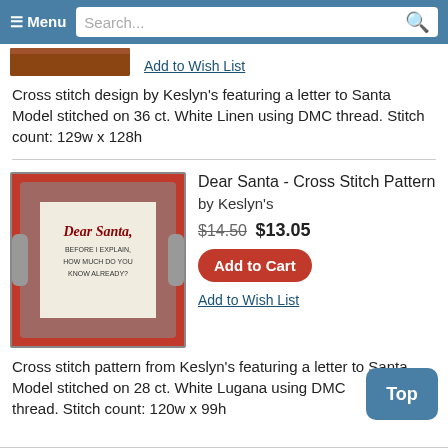≡ Menu  Search...
[Figure (photo): Partial product image at top]
Add to Wish List
Cross stitch design by Keslyn's featuring a letter to Santa
Model stitched on 36 ct. White Linen using DMC thread. Stitch count: 129w x 128h
[Figure (photo): Dear Santa cross stitch pattern in a tray with red background. Text reads: Dear Santa, BEFORE I EXPLAIN, HOW MUCH DO YOU KNOW ALREADY?]
Dear Santa - Cross Stitch Pattern
by Keslyn's
$14.50 $13.05
Add to Cart
Add to Wish List
Cross stitch pattern from Keslyn's featuring a letter to Santa
Model stitched on 28 ct. White Lugana using DMC thread. Stitch count: 120w x 99h